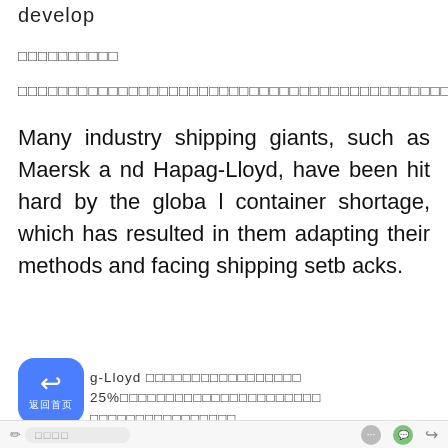develop
□□□□□□□□□□
□□□□□□□□□□□□□□□□□□□□□□□□□□□□□□□□□□□□□□□□□□□□□□□□
Many industry shipping giants, such as Maersk and Hapag-Lloyd, have been hit hard by the global container shortage, which has resulted in them adapting their methods and facing shipping setbacks.
g-Lloyd □□□□□□□□□□□□□□□□□ 25%□□□□□□□□□□□□□□□□□□□□□□□□□□□□□□□□□□□□□□□